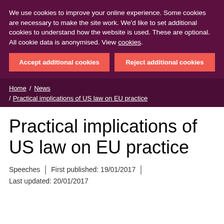We use cookies to improve your online experience. Some cookies are necessary to make the site work. We'd like to set additional cookies to understand how the website is used. These are optional. All cookie data is anonymised. View cookies.
Accept additional cookies
Reject additional cookies
Home / News / Practical implications of US law on EU practice
Practical implications of US law on EU practice
Speeches | First published: 19/01/2017 | Last updated: 20/01/2017